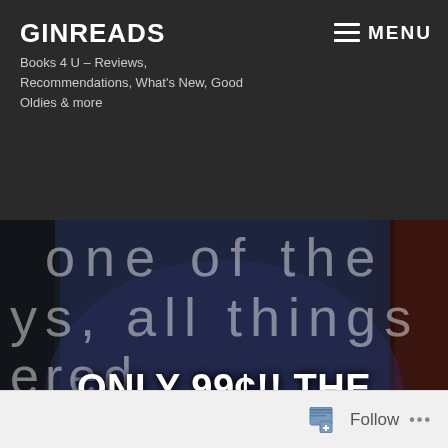GINREADS
Books 4 U – Reviews, Recommendations, What's New, Good Oldies & more
MENU
[Figure (photo): Dark urban alley scene with white handwritten text on a storefront window reading partial phrases including 'all things' and 'ered', with yellow script text at bottom reading 'even a good']
ONLY 99¢!! THE BEST BAD THINGS BY JAY CROWNOVER IS LIVE!
Follow ...